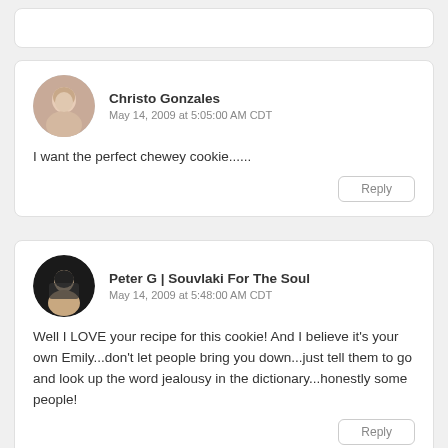Christo Gonzales
May 14, 2009 at 5:05:00 AM CDT
I want the perfect chewey cookie......
Peter G | Souvlaki For The Soul
May 14, 2009 at 5:48:00 AM CDT
Well I LOVE your recipe for this cookie! And I believe it's your own Emily...don't let people bring you down...just tell them to go and look up the word jealousy in the dictionary...honestly some people!